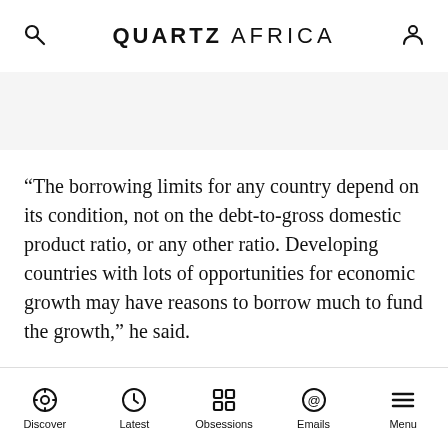QUARTZ AFRICA
“The borrowing limits for any country depend on its condition, not on the debt-to-gross domestic product ratio, or any other ratio. Developing countries with lots of opportunities for economic growth may have reasons to borrow much to fund the growth,” he said.
Discover  Latest  Obsessions  Emails  Menu